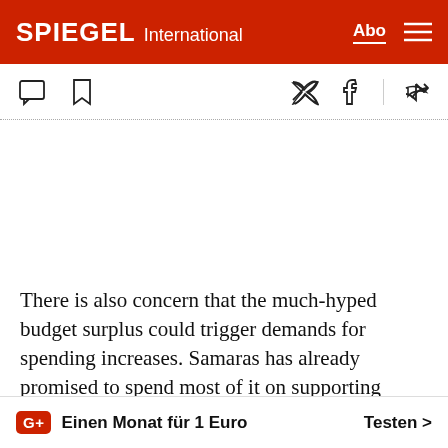SPIEGEL International
There is also concern that the much-hyped budget surplus could trigger demands for spending increases. Samaras has already promised to spend most of it on supporting those worst hit by the crisis. A series of court rulings vindicated the elite of public sector employees who challeng... extensive cuts
G+ Einen Monat für 1 Euro   Testen >